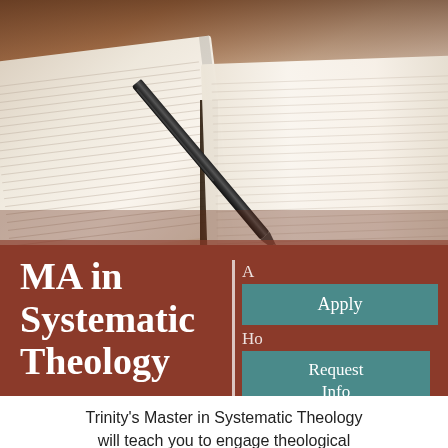[Figure (photo): Open book with a black pen resting on it, photographed close-up. Warm tones, soft focus background.]
MA in Systematic Theology
Apply
Ho...
Request Info
Residential
Trinity's Master in Systematic Theology will teach you to engage theological